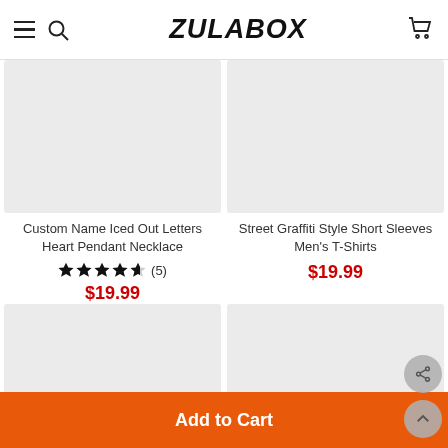ZULABOX
[Figure (photo): Product image placeholder - light gray rectangle for Custom Name Iced Out Letters Heart Pendant Necklace]
Custom Name Iced Out Letters Heart Pendant Necklace
★★★★½ (5)
$19.99
[Figure (photo): Product image placeholder - light gray rectangle for Street Graffiti Style Short Sleeves Men's T-Shirts]
Street Graffiti Style Short Sleeves Men's T-Shirts
$19.99
[Figure (photo): Product image placeholder - light gray rectangle, bottom left product]
[Figure (photo): Product image placeholder - light gray rectangle, bottom right product]
Add to Cart